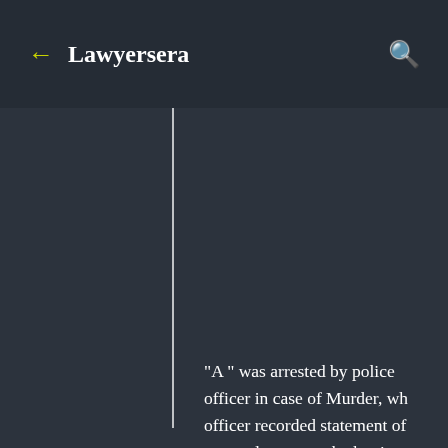Lawyersera
"A " was arrested by police officer in case of Murder, wh officer recorded statement of arrested person, whether it or confession such recorded statement is not admitted in